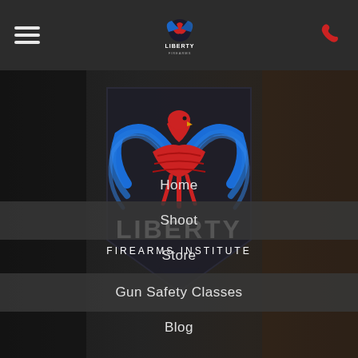[Figure (screenshot): Liberty Firearms Institute website mobile navigation menu. Dark background with indoor firing range. Top bar has hamburger menu, Liberty logo, and phone icon. Large phoenix/eagle logo in red and blue with text LIBERTY FIREARMS INSTITUTE. Navigation items: Home, Shoot, Store, Gun Safety Classes, Blog.]
Liberty Firearms Institute - navigation bar
Home
Shoot
Store
Gun Safety Classes
Blog